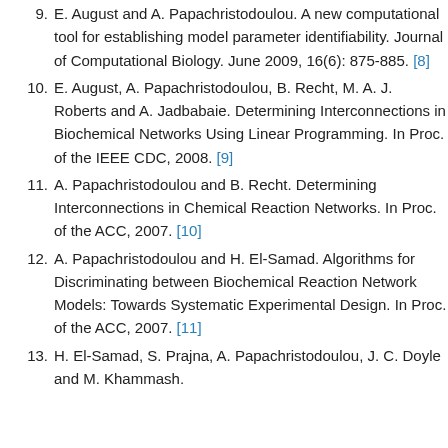9. E. August and A. Papachristodoulou. A new computational tool for establishing model parameter identifiability. Journal of Computational Biology. June 2009, 16(6): 875-885. [8]
10. E. August, A. Papachristodoulou, B. Recht, M. A. J. Roberts and A. Jadbabaie. Determining Interconnections in Biochemical Networks Using Linear Programming. In Proc. of the IEEE CDC, 2008. [9]
11. A. Papachristodoulou and B. Recht. Determining Interconnections in Chemical Reaction Networks. In Proc. of the ACC, 2007. [10]
12. A. Papachristodoulou and H. El-Samad. Algorithms for Discriminating between Biochemical Reaction Network Models: Towards Systematic Experimental Design. In Proc. of the ACC, 2007. [11]
13. H. El-Samad, S. Prajna, A. Papachristodoulou, J. C. Doyle and M. Khammash. A...